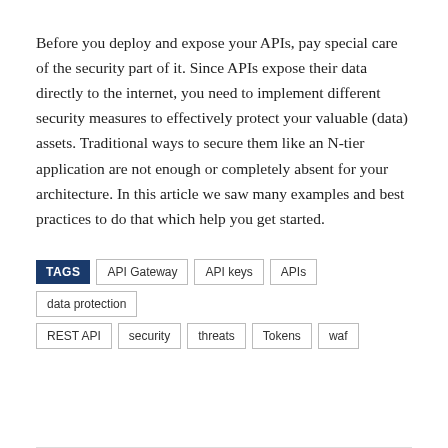Before you deploy and expose your APIs, pay special care of the security part of it. Since APIs expose their data directly to the internet, you need to implement different security measures to effectively protect your valuable (data) assets. Traditional ways to secure them like an N-tier application are not enough or completely absent for your architecture. In this article we saw many examples and best practices to do that which help you get started.
TAGS: API Gateway, API keys, APIs, data protection, REST API, security, threats, Tokens, waf